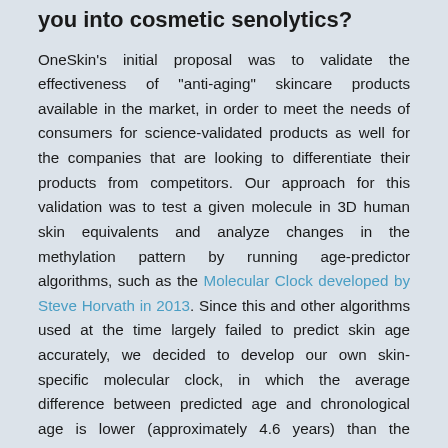you into cosmetic senolytics?
OneSkin's initial proposal was to validate the effectiveness of "anti-aging" skincare products available in the market, in order to meet the needs of consumers for science-validated products as well for the companies that are looking to differentiate their products from competitors. Our approach for this validation was to test a given molecule in 3D human skin equivalents and analyze changes in the methylation pattern by running age-predictor algorithms, such as the Molecular Clock developed by Steve Horvath in 2013. Since this and other algorithms used at the time largely failed to predict skin age accurately, we decided to develop our own skin-specific molecular clock, in which the average difference between predicted age and chronological age is lower (approximately 4.6 years) than the currently available molecular clocks. Later on, we realized that we could...